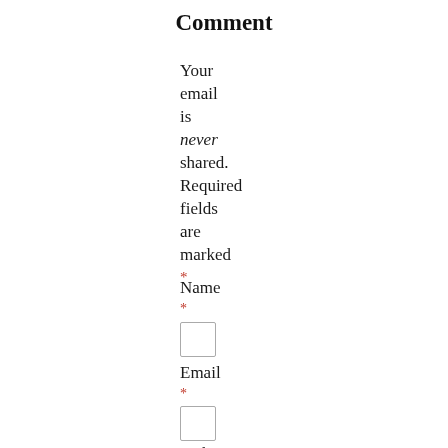Comment
Your email is never shared. Required fields are marked *
Name *
Email *
Website